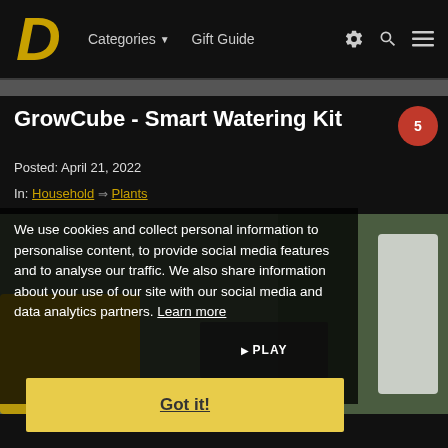Categories ▼   Gift Guide
GrowCube - Smart Watering Kit
Posted: April 21, 2022
In: Household ➡ Plants
We use cookies and collect personal information to personalise content, to provide social media features and to analyse our traffic. We also share information about your use of our site with our social media and data analytics partners. Learn more
[Figure (screenshot): Cookie consent overlay on GrowCube Smart Watering Kit article page with Got it button and background plant/phone image]
Got it!